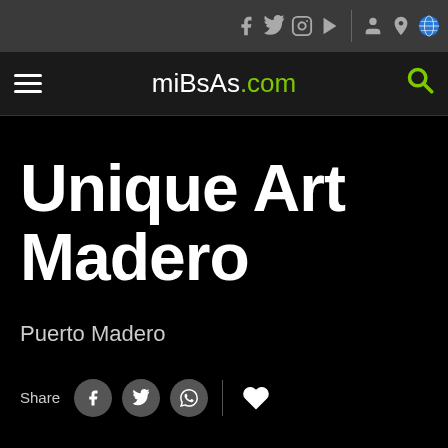miBsAs.com — social icons: Facebook, Twitter, Instagram, YouTube, User, Location, Globe
Unique Art Madero
Puerto Madero
Share